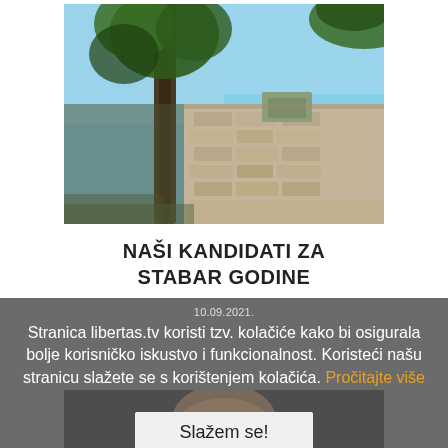[Figure (photo): Upward-angled photo of tall conifer tree beside a stone wall building, blue sky background]
NAŠI KANDIDATI ZA STABAR GODINE
10.09.2021.
Stranica libertas.tv koristi tzv. kolačiće kako bi osigurala bolje korisničko iskustvo i funkcionalnost. Koristeći našu stranicu slažete se s korištenjem kolačića. Pročitajte više
[Figure (photo): Partial photo of a person, mostly obscured by cookie consent overlay]
Slažem se!